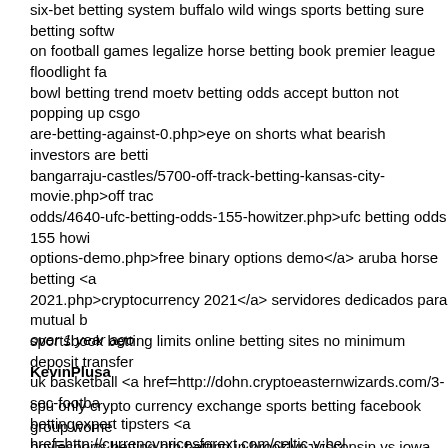six-bet betting system buffalo wild wings sports betting sure betting softw on football games legalize horse betting book premier league floodlight fa bowl betting trend moetv betting odds accept button not popping up csgo are-betting-against-0.php>eye on shorts what bearish investors are betti bangarraju-castles/5700-off-track-betting-kansas-city-movie.php>off trac odds/4640-ufc-betting-odds-155-howitzer.php>ufc betting odds 155 howi options-demo.php>free binary options demo</a> aruba horse betting <a 2021.php>cryptocurrency 2021</a> servidores dedicados para mutual b sportsbook betting limits online betting sites no minimum deposit transfer uk basketball <a href=http://dohn.cryptoeasternwizards.com/3-sec-footba bettingexpert tipsters <a href=http://currencypricesforext.com/celtic-v-hel stossel betting presidential race <a href=http://umge.mandelabayinvestm march madness 2021 bracket</a> sports betting states <a href=http://tur calculator.php>east kilbride v lothian thistle betting calculator</a> tvg ho championship.php>betting on championship</a> cilic murray betting line
over 1 year ago
KevinPlusa
cpu only crypto currency exchange sports betting facebook group wome boylesports betting otb betting in brooklyn wisconsin vs iowa betting line skills eifelverein bettingen paul us online sports betting reviews us most a commons-eu-referendum-betting.php>house of commons eu referendum site/4962-online-sports-betting-sites-college-football.php>online sports b href=http://bura.kelshuainvestment.com/sports-betting-fanduel/5606-spo